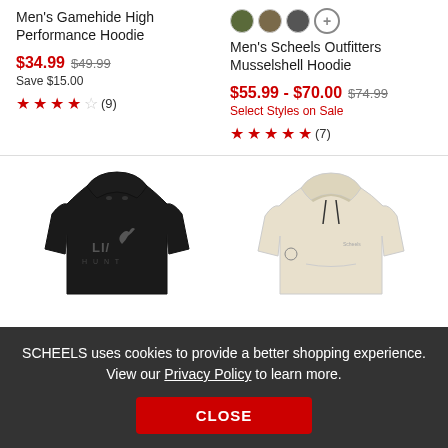Men's Gamehide High Performance Hoodie
$34.99  $49.99
Save $15.00
★★★★☆ (9)
Men's Scheels Outfitters Musselshell Hoodie
$55.99 - $70.00  $74.99
Select Styles on Sale
★★★★★ (7)
[Figure (photo): Black hoodie with LIX Hunt logo]
[Figure (photo): Cream/beige hoodie]
SCHEELS uses cookies to provide a better shopping experience. View our Privacy Policy to learn more.
CLOSE